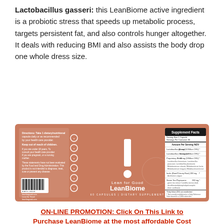Lactobacillus gasseri: this LeanBiome active ingredient is a probiotic stress that speeds up metabolic process, targets persistent fat, and also controls hunger altogether. It deals with reducing BMI and also assists the body drop one whole dress size.
[Figure (photo): LeanBiome product label showing salmon/orange colored supplement container label with 'Lean for Good LeanBiome' branding, supplement facts panel, directions, and barcode.]
ON-LINE PROMOTION: Click On This Link to Purchase LeanBiome at the most affordable Cost